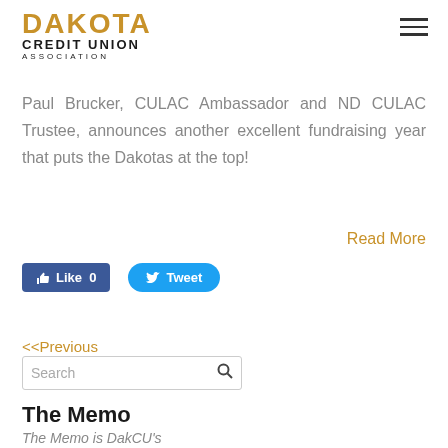DAKOTA CREDIT UNION ASSOCIATION
Paul Brucker, CULAC Ambassador and ND CULAC Trustee, announces another excellent fundraising year that puts the Dakotas at the top!
Read More
[Figure (other): Facebook Like button with count 0 and Twitter Tweet button]
<<Previous
Search
The Memo
The Memo is DakCU's